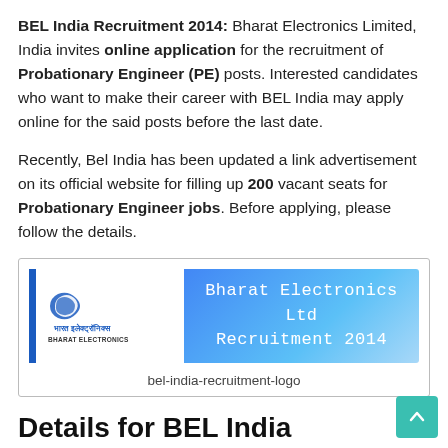BEL India Recruitment 2014: Bharat Electronics Limited, India invites online application for the recruitment of Probationary Engineer (PE) posts. Interested candidates who want to make their career with BEL India may apply online for the said posts before the last date.
Recently, Bel India has been updated a link advertisement on its official website for filling up 200 vacant seats for Probationary Engineer jobs. Before applying, please follow the details.
[Figure (logo): Bharat Electronics Ltd Recruitment 2014 logo banner with BEL logo on left and blue banner with text on right. Caption: bel-india-recruitment-logo]
bel-india-recruitment-logo
Details for BEL India Recruitment 2014:
Post Name: Probationary Engineer (PE)